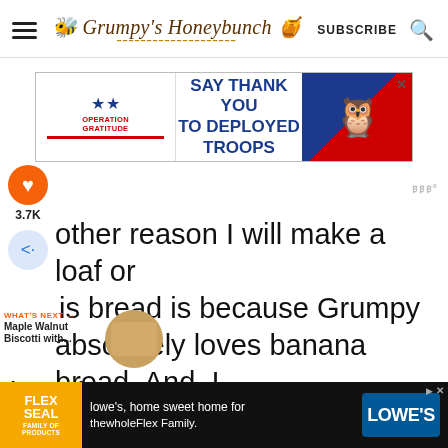Grumpy's Honeybunch — SUBSCRIBE
[Figure (screenshot): Operation Gratitude advertisement banner: 'SAY THANK YOU TO DEPLOYED TROOPS' with patriotic imagery including stars and an owl character]
[Figure (infographic): Orange heart/like button with count 3.7K and share button social bar on left side]
other reason I will make a loaf or [th]is bread is because Grumpy absolutely loves banana bread. And, I lov[e this delicious form of] banana bread on[...]e
[Figure (screenshot): What's Next widget showing 'Maple Walnut Biscotti with...' with circular thumbnail image]
[Figure (screenshot): Lowe's advertisement banner at bottom: 'lowe's, home sweet home for thewholeFlex Family' with Flex Seal and Lowe's logos]